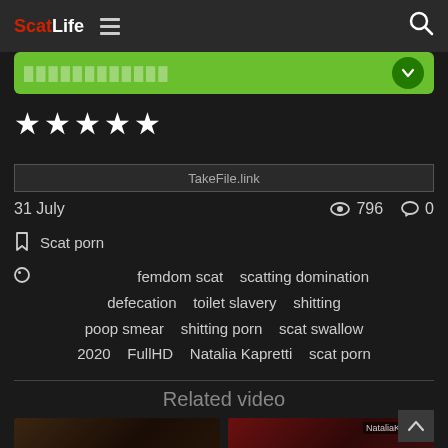ScatLife
[Figure (screenshot): Green download banner partially visible]
★★★★★
[Figure (screenshot): TakeFile.link banner]
31 July   796   0
Scat porn
femdom scat   scatting domination   defecation   toilet slavery   shitting   poop smear   shitting porn   scat swallow   2020   FullHD   Natalia Kapretti   scat porn
Related video
[Figure (photo): Two related video thumbnails]
Scroll to top arrow